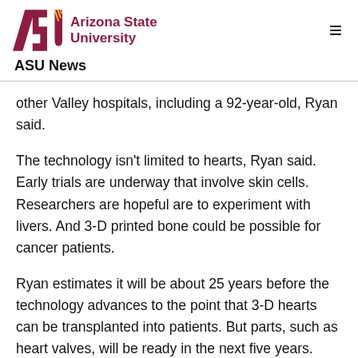ASU Arizona State University — ASU News
other Valley hospitals, including a 92-year-old, Ryan said.
The technology isn't limited to hearts, Ryan said. Early trials are underway that involve skin cells. Researchers are hopeful are to experiment with livers. And 3-D printed bone could be possible for cancer patients.
Ryan estimates it will be about 25 years before the technology advances to the point that 3-D hearts can be transplanted into patients. But parts, such as heart valves, will be ready in the next five years. Implantable devices, including stents and clips, will likely be available sooner.
In addition to 3-D hearts, the lab prints other surgical